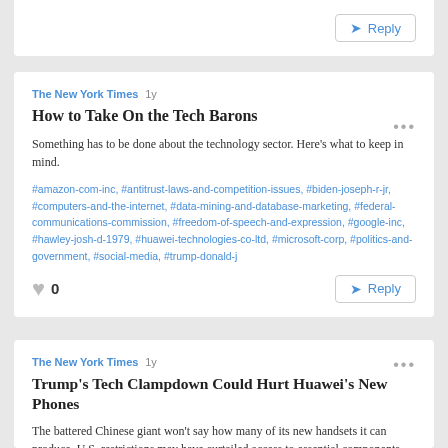[Figure (other): Top card partial, showing bottom of a previous post card]
The New York Times 1y
How to Take On the Tech Barons
Something has to be done about the technology sector. Here's what to keep in mind.
#amazon-com-inc, #antitrust-laws-and-competition-issues, #biden-joseph-r-jr, #computers-and-the-internet, #data-mining-and-database-marketing, #federal-communications-commission, #freedom-of-speech-and-expression, #google-inc, #hawley-josh-d-1979, #huawei-technologies-co-ltd, #microsoft-corp, #politics-and-government, #social-media, #trump-donald-j
0
The New York Times 1y
Trump's Tech Clampdown Could Hurt Huawei's New Phones
The battered Chinese giant won't say how many of its new handsets it can produce. U.S. restrictions may have curtailed access to essential components.
#5g-wireless-communications, #blacklisting, #china, #computer-chips, #huawei-technologies-co-ltd, #smartphones, #taiwan, #taiwan-